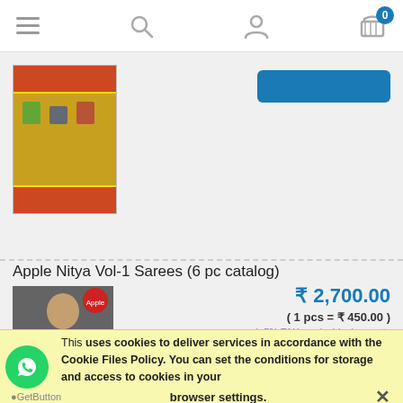Navigation header with menu, search, account and cart (0 items)
[Figure (photo): Partial product image of a yellow/gold saree with decorative border, with a blue button on the right]
Apple Nitya Vol-1 Sarees (6 pc catalog)
[Figure (photo): Product listing image showing a woman wearing a colorful printed saree with blue border detail]
₹ 2,700.00
( 1 pcs = ₹ 450.00 )
excl. 5% TAX, excl. shipping costs
order now
This [site] uses cookies to deliver services in accordance with the Cookie Files Policy. You can set the conditions for storage and access to cookies in your browser settings. ✕